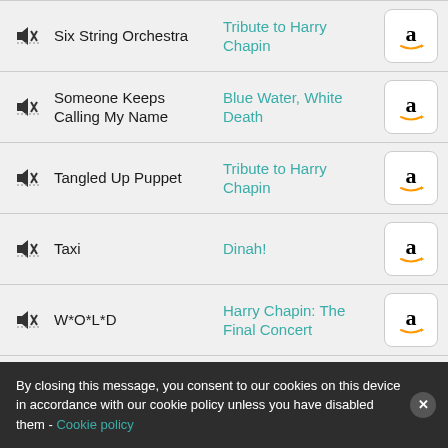Six String Orchestra | Tribute to Harry Chapin
Someone Keeps Calling My Name | Blue Water, White Death
Tangled Up Puppet | Tribute to Harry Chapin
Taxi | Dinah!
W*O*L*D | Harry Chapin: The Final Concert
W.O.L.D. | Tribute to Harry Chapin
By closing this message, you consent to our cookies on this device in accordance with our cookie policy unless you have disabled them - Cookie policy